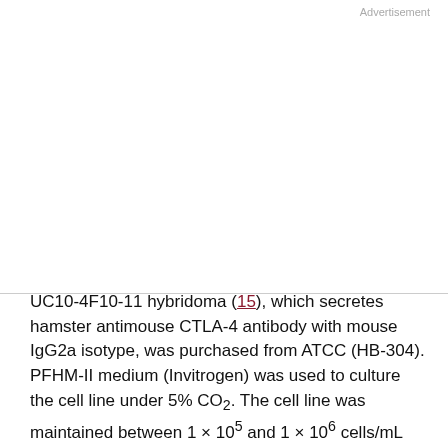Advertisement
UC10-4F10-11 hybridoma (15), which secretes hamster antimouse CTLA-4 antibody with mouse IgG2a isotype, was purchased from ATCC (HB-304). PFHM-II medium (Invitrogen) was used to culture the cell line under 5% CO2. The cell line was maintained between 1 × 10^5 and 1 × 10^6 cells/mL and anti–CTLA-4 was expressed and purified (16).
Degree of PEGylation for NKTR-214
This site uses cookies. By continuing to use our website, you are agreeing to our privacy policy. Accept
A relatable conjugate IgG, the NKTR-214 reference standard. Reference standard or NKTR-214 was